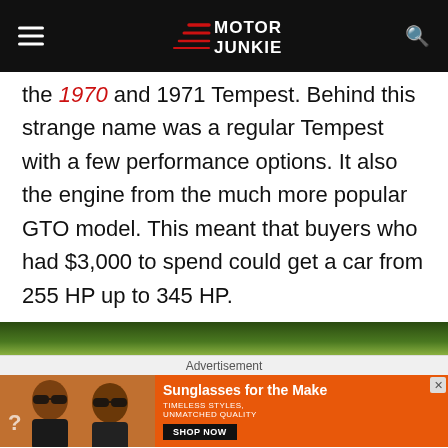Motor Junkie
the 1970 and 1971 Tempest. Behind this strange name was a regular Tempest with a few performance options. It also the engine from the much more popular GTO model. This meant that buyers who had $3,000 to spend could get a car from 255 HP up to 345 HP.
[Figure (photo): Partial view of a car photo at the bottom of the article]
Advertisement
[Figure (photo): Advertisement banner: Sunglasses for the Make - Timeless Styles, Unmatched Quality - Shop Now]